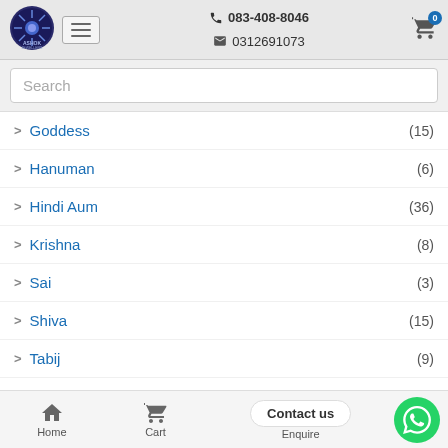Ashok Jewellers | 083-408-8046 | 0312691073
Goddess (15)
Hanuman (6)
Hindi Aum (36)
Krishna (8)
Sai (3)
Shiva (15)
Tabij (9)
Tamil Aum (8)
Telugu Aum (7)
Home | Cart | Contact us / Enquire